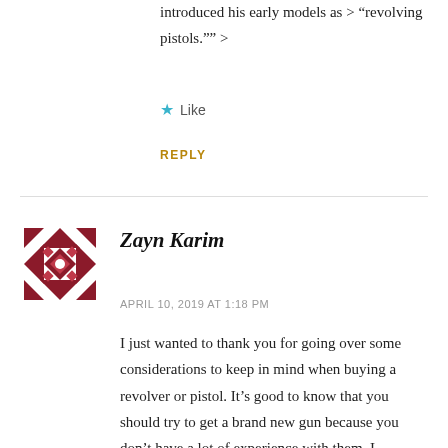introduced his early models as > “revolving pistols.”” >
★ Like
REPLY
[Figure (illustration): Geometric quilt-pattern avatar icon in dark red/maroon for user Zayn Karim]
Zayn Karim
APRIL 10, 2019 AT 1:18 PM
I just wanted to thank you for going over some considerations to keep in mind when buying a revolver or pistol. It’s good to know that you should try to get a brand new gun because you don’t have a lot of experience with them. I